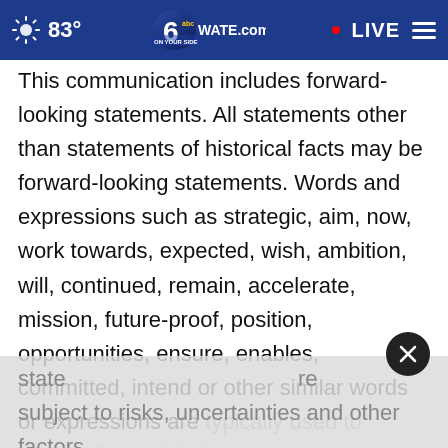83° | WATE.com | LIVE
This communication includes forward-looking statements. All statements other than statements of historical facts may be forward-looking statements. Words and expressions such as strategic, aim, now, work towards, expected, wish, ambition, will, continued, remain, accelerate, mission, future-proof, position, opportunities, ensure, enables, committed, intend or other similar words or expressions are typically used to identify forward-looking statements, which are subject to risks, uncertainties and other factors